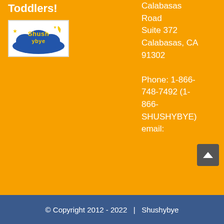Toddlers!
[Figure (logo): Shushybye logo — stylized text on a blue cloud with stars and moon]
Calabasas Road
Suite 372
Calabasas, CA 91302

Phone: 1-866-748-7492 (1-866-SHUSHYBYE)
email:
© Copyright 2012 - 2022  |  Shushybye